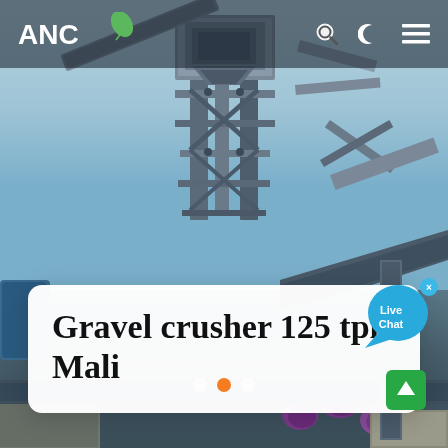[Figure (photo): Industrial gravel crusher machinery with steel frame, conveyor structure, and pipework photographed from below against a light blue sky. Heavy steel structural components visible including a hopper at top, elevated conveyor belts, and purple-colored pipes at the base.]
ANC [logo with leaf icon] — navigation bar with search, dark mode, and menu icons
Gravel crusher 125 tph Mali